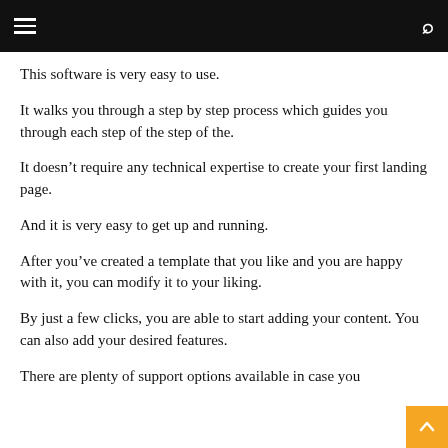Navigation bar with hamburger menu and search icon
This software is very easy to use.
It walks you through a step by step process which guides you through each step of the step of the.
It doesn’t require any technical expertise to create your first landing page.
And it is very easy to get up and running.
After you’ve created a template that you like and you are happy with it, you can modify it to your liking.
By just a few clicks, you are able to start adding your content. You can also add your desired features.
There are plenty of support options available in case you